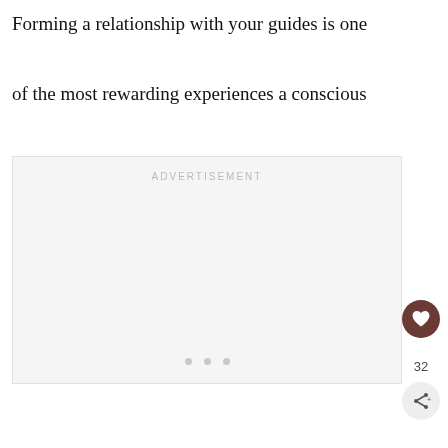Forming a relationship with your guides is one of the most rewarding experiences a conscious spiritually awakened person can create.
[Figure (other): Advertisement placeholder box with 'ADVERTISEMENT' label and three dots at the bottom center]